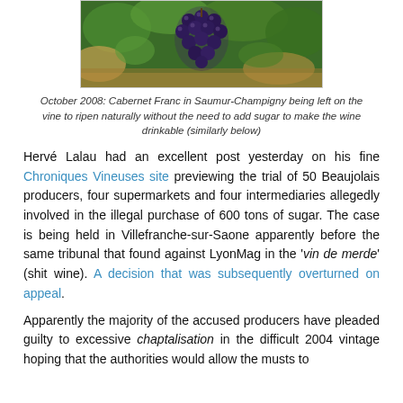[Figure (photo): Photograph of dark purple grapes (Cabernet Franc) on the vine with green leaves in background]
October 2008: Cabernet Franc in Saumur-Champigny being left on the vine to ripen naturally without the need to add sugar to make the wine drinkable (similarly below)
Hervé Lalau had an excellent post yesterday on his fine Chroniques Vineuses site previewing the trial of 50 Beaujolais producers, four supermarkets and four intermediaries allegedly involved in the illegal purchase of 600 tons of sugar. The case is being held in Villefranche-sur-Saone apparently before the same tribunal that found against LyonMag in the 'vin de merde' (shit wine). A decision that was subsequently overturned on appeal.
Apparently the majority of the accused producers have pleaded guilty to excessive chaptalisation in the difficult 2004 vintage hoping that the authorities would allow the musts to be enriched by 3.5%. The normal limit is 2%. This...